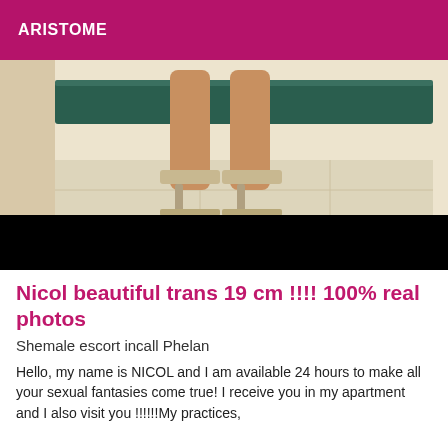ARISTOME
[Figure (photo): Photo showing legs and high heeled platform shoes, seated on a green bench, with a black band across the lower portion of the image.]
Nicol beautiful trans 19 cm !!!! 100% real photos
Shemale escort incall Phelan
Hello, my name is NICOL and I am available 24 hours to make all your sexual fantasies come true! I receive you in my apartment and I also visit you !!!!!!My practices,